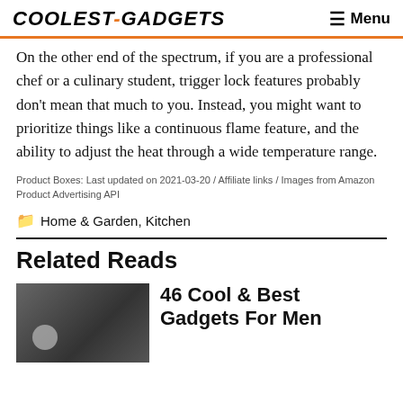COOLEST-GADGETS   Menu
On the other end of the spectrum, if you are a professional chef or a culinary student, trigger lock features probably don't mean that much to you. Instead, you might want to prioritize things like a continuous flame feature, and the ability to adjust the heat through a wide temperature range.
Product Boxes: Last updated on 2021-03-20 / Affiliate links / Images from Amazon Product Advertising API
Home & Garden, Kitchen
Related Reads
46 Cool & Best Gadgets For Men